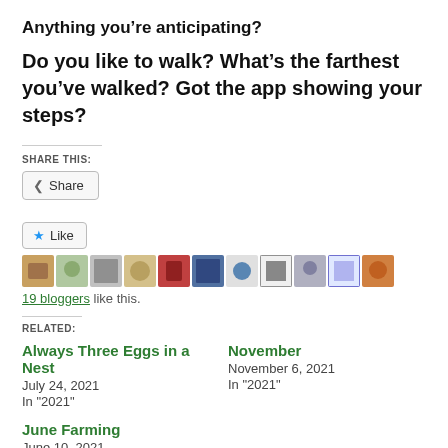Anything you’re anticipating?
Do you like to walk? What’s the farthest you’ve walked? Got the app showing your steps?
SHARE THIS:
Share
[Figure (illustration): Like button with star icon and a row of 11 small avatar thumbnails of blogger profile pictures]
19 bloggers like this.
RELATED:
Always Three Eggs in a Nest
July 24, 2021
In "2021"
November
November 6, 2021
In "2021"
June Farming
June 10, 2021